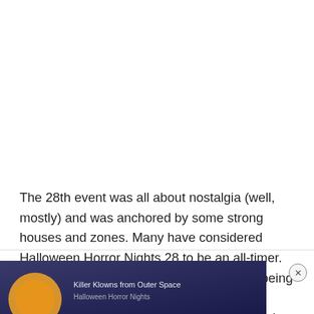The 28th event was all about nostalgia (well, mostly) and was anchored by some strong houses and zones. Many have considered Halloween Horror Nights 28 to be an all-timer. Poltergeist stole the show, with the house being featured at the top of many lists. The Killer Klowns from Outer Space danced their way into our hearts, taking the little known 80's B-movie to new heights of popularity. While Bill & Ted was missed, Academy of Villains seems to have found their niche in the event.
[Figure (photo): Advertisement banner at the bottom of the page showing a dark blue/purple themed image, partially visible, with a close (X) button in the upper right corner of the ad area.]